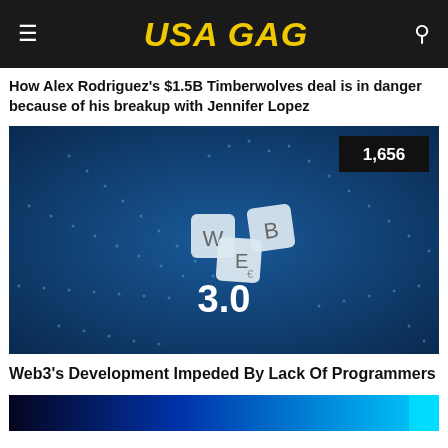USA GAG
How Alex Rodriguez's $1.5B Timberwolves deal is in danger because of his breakup with Jennifer Lopez
[Figure (photo): Web 3.0 concept image showing scrabble tiles spelling W, E, B arranged on a blue background with dotted web/network lines, and the number 3.0 below the tiles. A badge in the top right corner shows 1,656.]
Web3's Development Impeded By Lack Of Programmers
[Figure (photo): Bottom teaser strip showing a blue/teal glowing abstract background, partial view of another article image.]